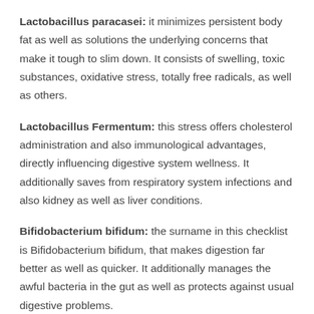Lactobacillus paracasei: it minimizes persistent body fat as well as solutions the underlying concerns that make it tough to slim down. It consists of swelling, toxic substances, oxidative stress, totally free radicals, as well as others.
Lactobacillus Fermentum: this stress offers cholesterol administration and also immunological advantages, directly influencing digestive system wellness. It additionally saves from respiratory system infections and also kidney as well as liver conditions.
Bifidobacterium bifidum: the surname in this checklist is Bifidobacterium bifidum, that makes digestion far better as well as quicker. It additionally manages the awful bacteria in the gut as well as protects against usual digestive problems.
Inulin: This active ingredient is prebiotic, which controls bowel movements and help in digestion. Without inulin, troubles such as